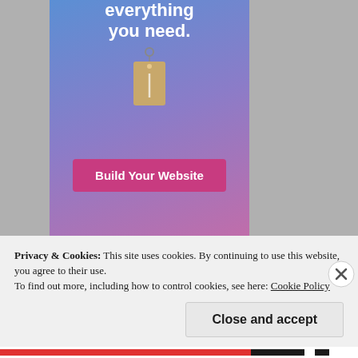[Figure (illustration): Advertisement banner with blue-to-purple-to-pink gradient background, text 'everything you need.' in white bold font, a hanging price tag illustration, and a pink 'Build Your Website' button]
Privacy & Cookies: This site uses cookies. By continuing to use this website, you agree to their use.
To find out more, including how to control cookies, see here: Cookie Policy
Close and accept